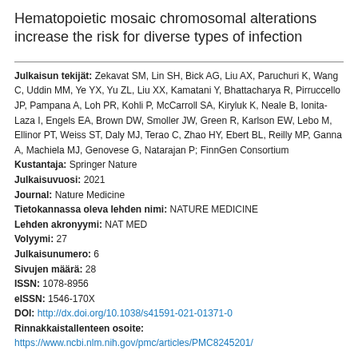Hematopoietic mosaic chromosomal alterations increase the risk for diverse types of infection
Julkaisun tekijät: Zekavat SM, Lin SH, Bick AG, Liu AX, Paruchuri K, Wang C, Uddin MM, Ye YX, Yu ZL, Liu XX, Kamatani Y, Bhattacharya R, Pirruccello JP, Pampana A, Loh PR, Kohli P, McCarroll SA, Kiryluk K, Neale B, Ionita-Laza I, Engels EA, Brown DW, Smoller JW, Green R, Karlson EW, Lebo M, Ellinor PT, Weiss ST, Daly MJ, Terao C, Zhao HY, Ebert BL, Reilly MP, Ganna A, Machiela MJ, Genovese G, Natarajan P; FinnGen Consortium
Kustantaja: Springer Nature
Julkaisuvuosi: 2021
Journal: Nature Medicine
Tietokannassa oleva lehden nimi: NATURE MEDICINE
Lehden akronyymi: NAT MED
Volyymi: 27
Julkaisunumero: 6
Sivujen määrä: 28
ISSN: 1078-8956
eISSN: 1546-170X
DOI: http://dx.doi.org/10.1038/s41591-021-01371-0
Rinnakkaistallenteen osoite:
https://www.ncbi.nlm.nih.gov/pmc/articles/PMC8245201/
Tiivistelmä